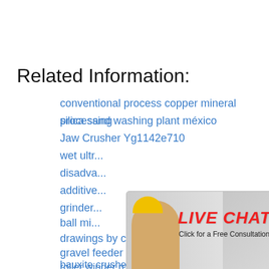Related Information:
conventional process copper mineral processing
silica sand washing plant méxico
Jaw Crusher Yg1142e710
wet ultr...
disadva...
additive...
grinder...
ball mi...
drawings by crushing equipment
gravel feeder hopper for sale
roller winder roller part of crushing m...
bauxite crusher fields
manganese crusher plants
stone crushing machine epuipment...
republic
pertambangan batubara di idnonesc...
[Figure (screenshot): Live chat popup overlay with photo of workers in hard hats, red LIVE CHAT text, Chat now and Chat later buttons]
[Figure (screenshot): Right sidebar with blue background, hour online text, cone crusher machine image, Click me to chat>> button, Enquiry section, limingjlmofen text]